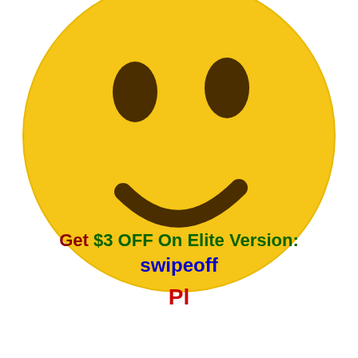[Figure (illustration): Large yellow smiley face emoji with brown eyes and a curved smile on a white background]
Get $3 OFF On Elite Version: swipeoff
Pl...